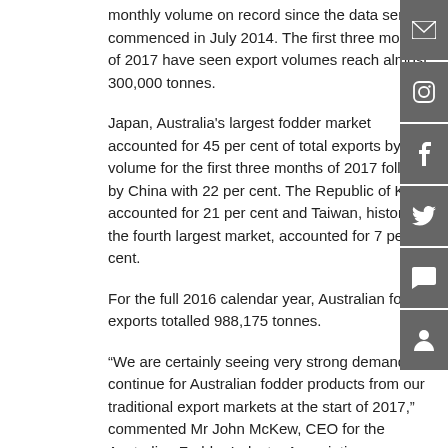monthly volume on record since the data series commenced in July 2014. The first three months of 2017 have seen export volumes reach almost 300,000 tonnes.
Japan, Australia's largest fodder market accounted for 45 per cent of total exports by volume for the first three months of 2017 followed by China with 22 per cent. The Republic of Korea accounted for 21 per cent and Taiwan, historically the fourth largest market, accounted for 7 per cent.
For the full 2016 calendar year, Australian fodder exports totalled 988,175 tonnes.
“We are certainly seeing very strong demand continue for Australian fodder products from our traditional export markets at the start of 2017,” commented Mr John McKew, CEO for the Australian Fodder Industry Association.